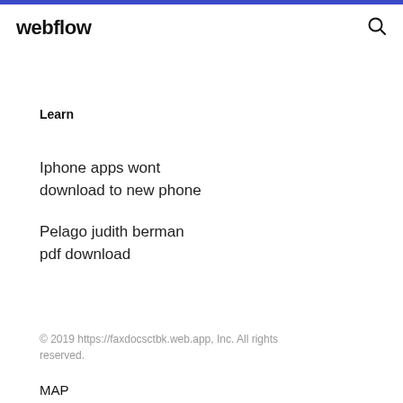webflow
Learn
Iphone apps wont download to new phone
Pelago judith berman pdf download
© 2019 https://faxdocsctbk.web.app, Inc. All rights reserved.
MAP